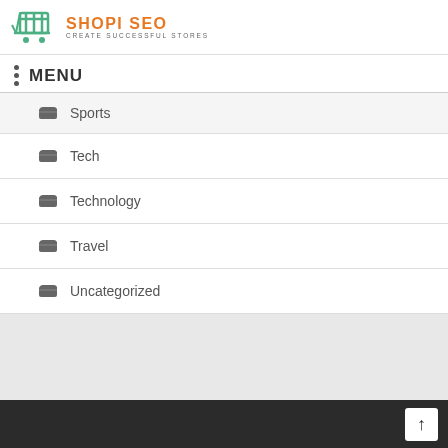SHOPI SEO — CREATE SUCCESSFUL STORES
MENU
Sports
Tech
Technology
Travel
Uncategorized
↑